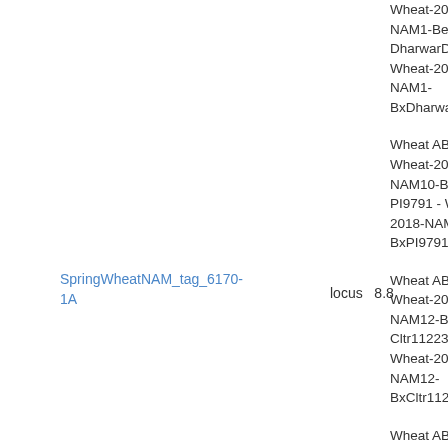SpringWheatNAM_tag_6170-1A
locus   8.8
Wheat ABD - Wheat-2018-NAM1-Berkut-x-DharwarDry - Wheat-2018-NAM1-BxDharwarDry_1A
Wheat ABD - Wheat-2018-NAM10-Berkut-x-PI9791 - Wheat-2018-NAM10-BxPI9791_1A
Wheat ABD - Wheat-2018-NAM12-Berkut-x-Cltr11223 - Wheat-2018-NAM12-BxCltr11223_1A
Wheat ABD - Wheat-2018-NAM13-Berkut-x-PI262611 - Wheat-2018-NAM13-BxPI262611_1A
Wheat ABD - Wheat-2018-